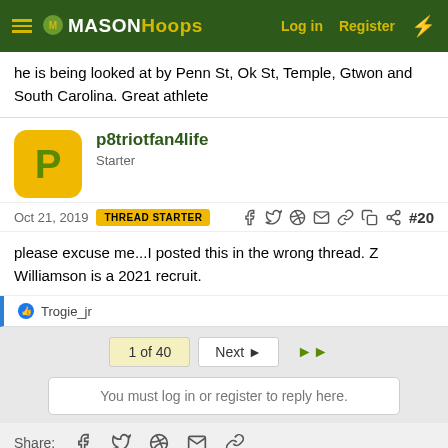MasonHoops - Log in | Register
he is being looked at by Penn St, Ok St, Temple, Gtwon and South Carolina. Great athlete
p8triotfan4life
Starter
Oct 21, 2019  THREAD STARTER  #20
please excuse me...I posted this in the wrong thread. Z Williamson is a 2021 recruit.
Trogie_jr
1 of 40  Next  ▶▶
You must log in or register to reply here.
Share: